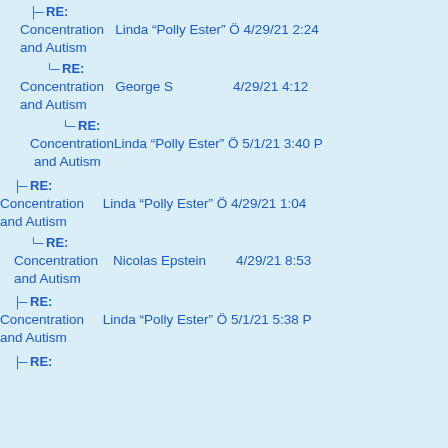RE: Concentration and Autism  Linda "Polly Ester" Ö  4/29/21 2:24
RE: Concentration and Autism  George S  4/29/21 4:12
RE: Concentration and Autism  Linda "Polly Ester" Ö  5/1/21 3:40 P
RE: Concentration and Autism  Linda "Polly Ester" Ö  4/29/21 1:04
RE: Concentration and Autism  Nicolas Epstein  4/29/21 8:53
RE: Concentration and Autism  Linda "Polly Ester" Ö  5/1/21 5:38 P
RE: